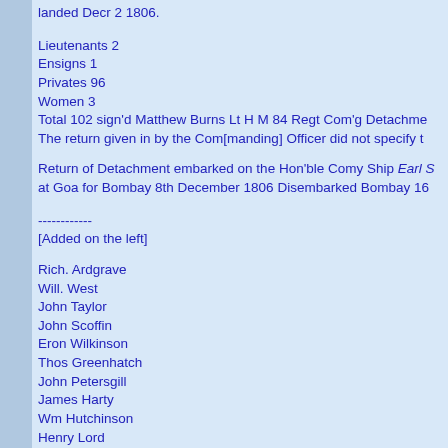landed Decr 2 1806.
Lieutenants 2
Ensigns 1
Privates 96
Women 3
Total 102 sign'd Matthew Burns Lt H M 84 Regt Com'g Detachme
The return given in by the Com[manding] Officer did not specify t
Return of Detachment embarked on the Hon'ble Comy Ship Earl S at Goa for Bombay 8th December 1806 Disembarked Bombay 16
------------
[Added on the left]
Rich. Ardgrave
Will. West
John Taylor
John Scoffin
Eron Wilkinson
Thos Greenhatch
John Petersgill
James Harty
Wm Hutchinson
Henry Lord
Thos Jayse